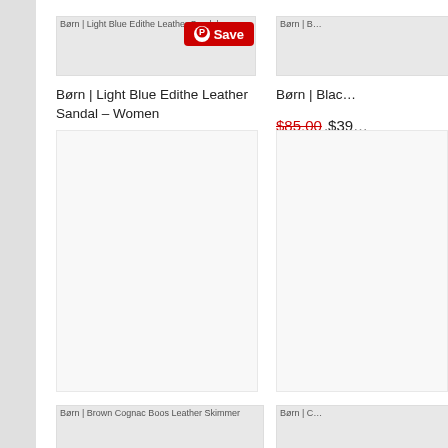[Figure (photo): Product image placeholder: Børn | Light Blue Edithe Leather Sandal]
[Figure (photo): Product image placeholder: Børn | Black (partial, cut off on right)]
Børn | Light Blue Edithe Leather Sandal – Women
Børn | Blac…
$100.00,$49.99
$85.00,$39…
[Figure (photo): Product image placeholder: Børn | Brown Cognac Boos Leather Skimmer (partial, cut off at bottom)]
[Figure (photo): Product image placeholder: Børn | (partial, cut off at right and bottom)]